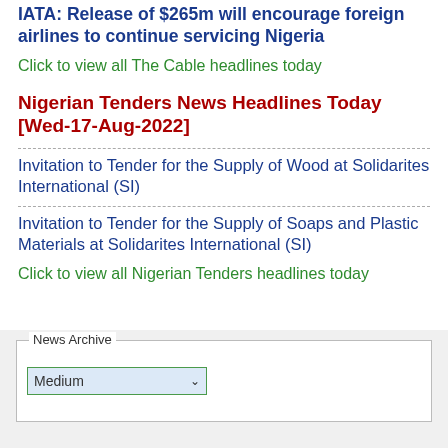IATA: Release of $265m will encourage foreign airlines to continue servicing Nigeria
Click to view all The Cable headlines today
Nigerian Tenders News Headlines Today [Wed-17-Aug-2022]
Invitation to Tender for the Supply of Wood at Solidarites International (SI)
Invitation to Tender for the Supply of Soaps and Plastic Materials at Solidarites International (SI)
Click to view all Nigerian Tenders headlines today
[Figure (screenshot): News Archive widget with a dropdown select box showing 'Medium' and a dropdown arrow, inside a fieldset-style bordered box on a gray background.]